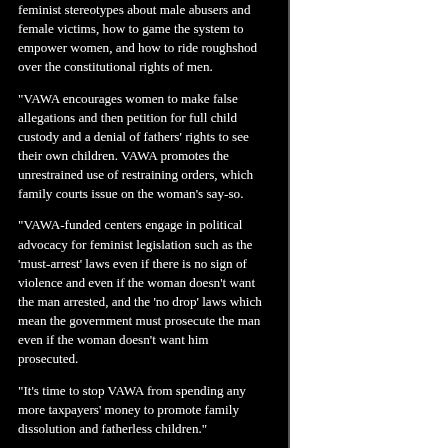feminist stereotypes about male abusers and female victims, how to game the system to empower women, and how to ride roughshod over the constitutional rights of men.
"VAWA encourages women to make false allegations and then petition for full child custody and a denial of fathers' rights to see their own children. VAWA promotes the unrestrained use of restraining orders, which family courts issue on the woman's say-so.
"VAWA-funded centers engage in political advocacy for feminist legislation such as the 'must-arrest' laws even if there is no sign of violence and even if the woman doesn't want the man arrested, and the 'no drop' laws which mean the government must prosecute the man even if the woman doesn't want him prosecuted.
"It's time to stop VAWA from spending any more taxpayers' money to promote family dissolution and fatherless children."
Attorney Joseph E. Cordell, Huffington Post (2011):